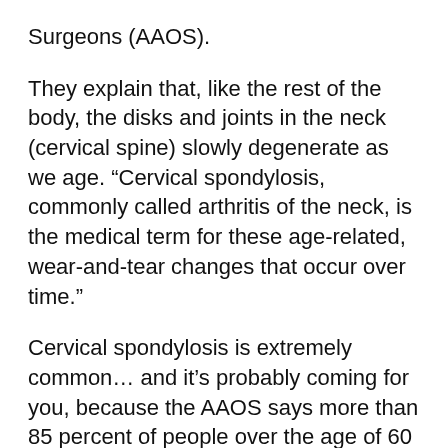Surgeons (AAOS).
They explain that, like the rest of the body, the disks and joints in the neck (cervical spine) slowly degenerate as we age. “Cervical spondylosis, commonly called arthritis of the neck, is the medical term for these age-related, wear-and-tear changes that occur over time.”
Cervical spondylosis is extremely common… and it’s probably coming for you, because the AAOS says more than 85 percent of people over the age of 60 are